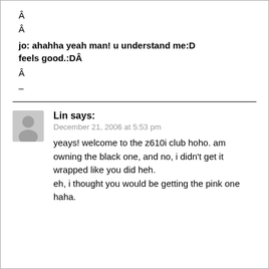Â
Â
jo: ahahha yeah man! u understand me:D feels good.:DÂ
Â
–
Lin says:
December 21, 2006 at 5:53 pm

yeays! welcome to the z610i club hoho. am owning the black one, and no, i didn't get it wrapped like you did heh.
eh, i thought you would be getting the pink one haha.